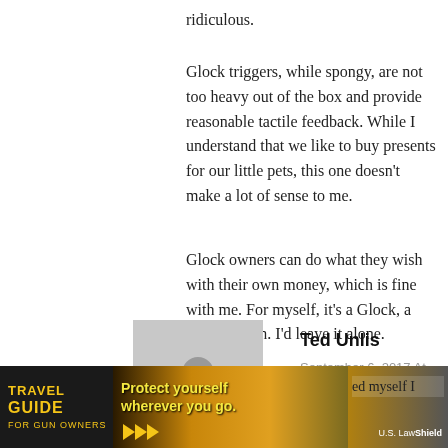ridiculous.
Glock triggers, while spongy, are not too heavy out of the box and provide reasonable tactile feedback. While I understand that we like to buy presents for our little pets, this one doesn't make a lot of sense to me.
Glock owners can do what they wish with their own money, which is fine with me. For myself, it's a Glock, a working gun. I'd leave it alone.
Reply
[Figure (photo): Grey avatar placeholder silhouette for user Ted Unlis]
Ted Unlis
September 6, 2017 At 22:03
I agree, when the M&P C.O.R.E. price finally ... ed myself I ... me when I
[Figure (infographic): Travel Guide for Gun Owners advertisement banner showing 'Protect yourself wherever you go.' with play arrows and US LawShield branding]